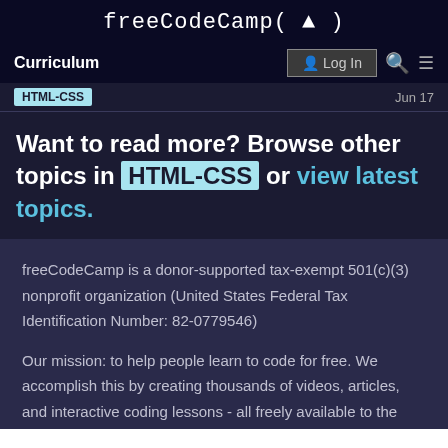freeCodeCamp(🔥)
Curriculum  Log In  🔍 ☰
HTML-CSS  Jun 17
Want to read more? Browse other topics in HTML-CSS or view latest topics.
freeCodeCamp is a donor-supported tax-exempt 501(c)(3) nonprofit organization (United States Federal Tax Identification Number: 82-0779546)
Our mission: to help people learn to code for free. We accomplish this by creating thousands of videos, articles, and interactive coding lessons - all freely available to the